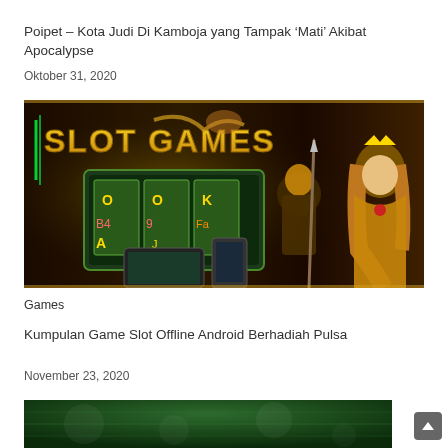Poipet – Kota Judi Di Kamboja yang Tampak 'Mati' Akibat Apocalypse
Oktober 31, 2020
[Figure (photo): Slot Games promotional banner showing slot machine game screen, fantasy warrior characters, and text 'SLOT GAMES' with golden/neon styling]
Games
Kumpulan Game Slot Offline Android Berhadiah Pulsa
November 23, 2020
[Figure (photo): Partially visible image at bottom, appears to show casino/poker table with green felt]